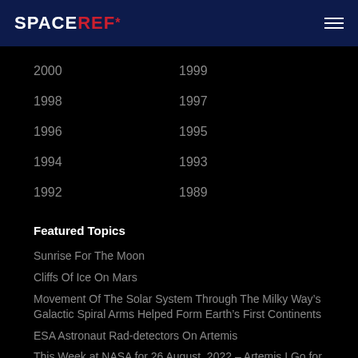SPACEREF*
2000
1999
1998
1997
1996
1995
1994
1993
1992
1989
Featured Topics
Sunrise For The Moon
Cliffs Of Ice On Mars
Movement Of The Solar System Through The Milky Way’s Galactic Spiral Arms Helped Form Earth’s First Continents
ESA Astronaut Rad-detectors On Artemis
This Week at NASA for 26 August, 2022 – Artemis I Go for Launch
Joint USAF/NOAA Solar Geophysical Activity Report and